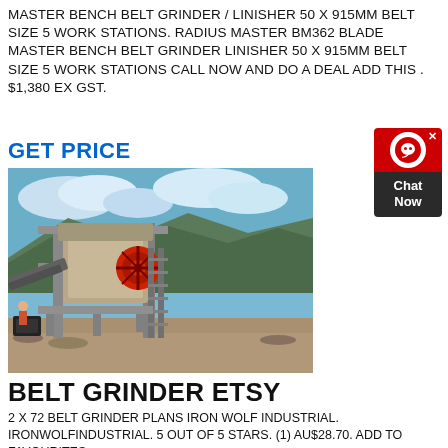MASTER BENCH BELT GRINDER / LINISHER 50 X 915MM BELT SIZE 5 WORK STATIONS. RADIUS MASTER BM362 BLADE MASTER BENCH BELT GRINDER LINISHER 50 X 915MM BELT SIZE 5 WORK STATIONS CALL NOW AND DO A DEAL ADD THIS . $1,380 EX GST.
GET PRICE
[Figure (photo): Industrial crushing/grinding machine on a quarry or mining site, with mountains and blue sky in background. Large machinery with steel frame structure and conveyor belt components.]
BELT GRINDER ETSY
2 X 72 BELT GRINDER PLANS IRON WOLF INDUSTRIAL. IRONWOLFINDUSTRIAL. 5 OUT OF 5 STARS. (1) AU$28.70. ADD TO FAVOURITES.